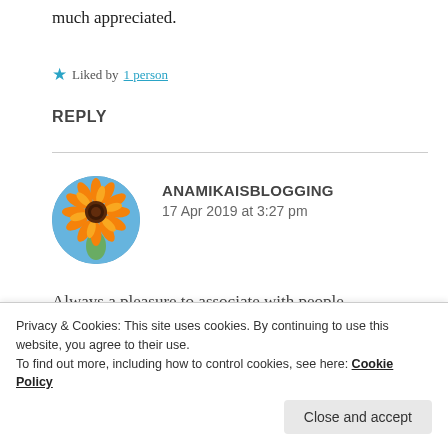much appreciated.
★ Liked by 1 person
REPLY
[Figure (photo): Circular avatar photo of an orange gerbera daisy flower against a blue sky background]
ANAMIKAISBLOGGING
17 Apr 2019 at 3:27 pm
Always a pleasure to associate with people
kind and courteous. You take care and
Privacy & Cookies: This site uses cookies. By continuing to use this website, you agree to their use.
To find out more, including how to control cookies, see here: Cookie Policy
Close and accept